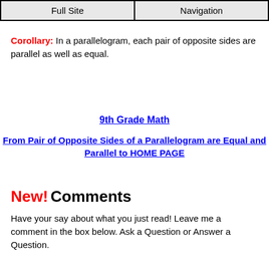Full Site | Navigation
Corollary: In a parallelogram, each pair of opposite sides are parallel as well as equal.
9th Grade Math
From Pair of Opposite Sides of a Parallelogram are Equal and Parallel to HOME PAGE
New! Comments
Have your say about what you just read! Leave me a comment in the box below. Ask a Question or Answer a Question.